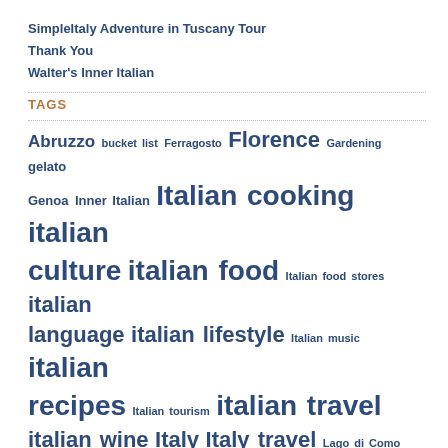SimpleItaly Adventure in Tuscany Tour
Thank You
Walter's Inner Italian
TAGS
Abruzzo bucket list Ferragosto Florence Gardening gelato Genoa Inner Italian Italian cooking italian culture italian food Italian food stores italian language italian lifestyle Italian music italian recipes Italian tourism italian travel italian wine Italy Italy travel Lago di Como Lake Como Mediterranean diet mozzarella di bufala Naples tourism Paestum Paolo Conte pasta polenta porcini Puglia Rome Santa